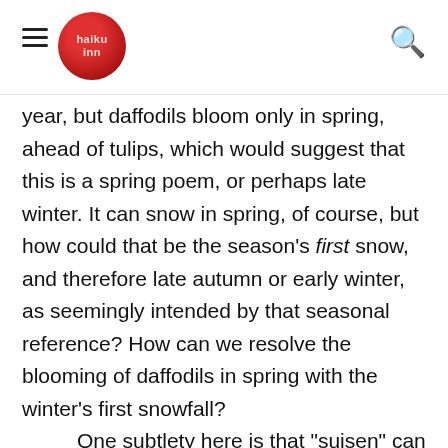[Navigation header with hamburger menu, logo, and search icon]
year, but daffodils bloom only in spring, ahead of tulips, which would suggest that this is a spring poem, or perhaps late winter. It can snow in spring, of course, but how could that be the season’s first snow, and therefore late autumn or early winter, as seemingly intended by that seasonal reference? How can we resolve the blooming of daffodils in spring with the winter’s first snowfall?

    One subtlety here is that “suisen” can be translated as “narcissus,” which bloom earlier than daffodils. William Higginson’s international saijiki, or season-word almanac, Haiku World (Tokyo: Kodansha International, 1996), translates “suisen”